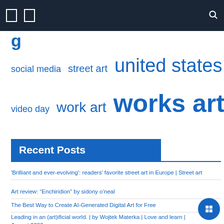Navigation bar with icons and search
g
social media  street art  united states
video day  work art  works art
Recent Posts
'Brilliant and ever-evolving': readers' favorite street art in Europe | Street art
Art review: “Enchiridion” by sidony o’neal
The Best Way to Create AI-Generated Digital Art for Free
Leading in an (art)ificial world. | by Wojtek Materka | Love and learn | August 2022